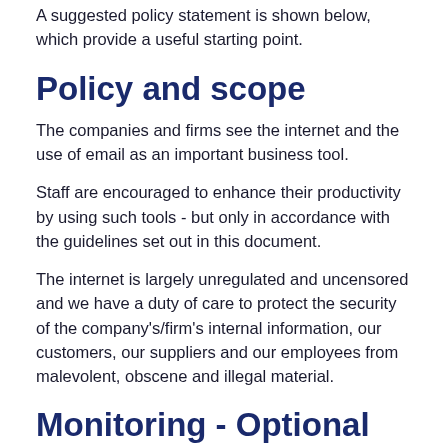A suggested policy statement is shown below, which provide a useful starting point.
Policy and scope
The companies and firms see the internet and the use of email as an important business tool.
Staff are encouraged to enhance their productivity by using such tools - but only in accordance with the guidelines set out in this document.
The internet is largely unregulated and uncensored and we have a duty of care to protect the security of the company's/firm's internal information, our customers, our suppliers and our employees from malevolent, obscene and illegal material.
Monitoring - Optional paragraphs - One
The company reserves the right to monitor emails and